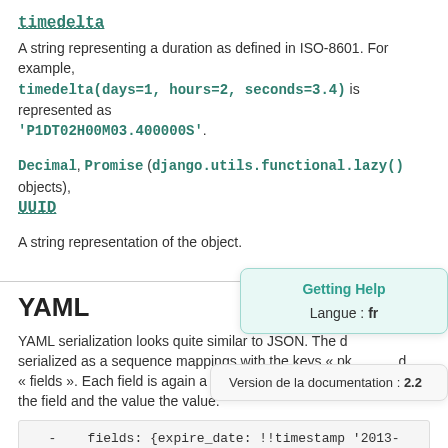timedelta
A string representing a duration as defined in ISO-8601. For example, timedelta(days=1, hours=2, seconds=3.4) is represented as 'P1DT02H00M03.400000S'.
Decimal, Promise (django.utils.functional.lazy() objects), UUID
A string representation of the object.
YAML
YAML serialization looks quite similar to JSON. The d serialized as a sequence mappings with the keys « pk d « fields ». Each field is again a mapping with the key b the field and the value the value:
Getting Help
Langue : fr
Version de la documentation : 2.2
- fields: {expire_date: !!timestamp '2013-01-
  16 09:16:59.8((569:00:00'}